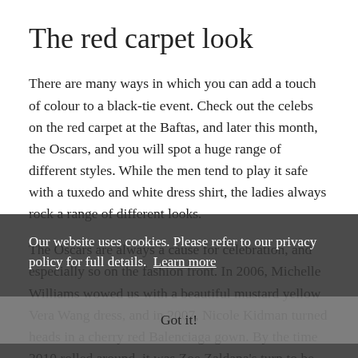The red carpet look
There are many ways in which you can add a touch of colour to a black-tie event. Check out the celebs on the red carpet at the Baftas, and later this month, the Oscars, and you will spot a huge range of different styles. While the men tend to play it safe with a tuxedo and white dress shirt, the ladies always rock a range of different looks.
The Oscars are always a cause for celebration, and especially so on the fashion front. In 2006, Michelle Williams wowed us with a beautiful mustard yellow Vera Wang dress, and in 2007, Nicole Kidman turned heads in a cherry red Balenciaga gown. By the time 2010 rolled around, it was Zoe Zaldana's turn to be on the front page. Her ombre tulle Givenchy dress with a crystal embellished bodice was incredible.
This year, we can expect a similar selection of daring
Our website uses cookies. Please refer to our privacy policy for full details.  Learn more
Got it!